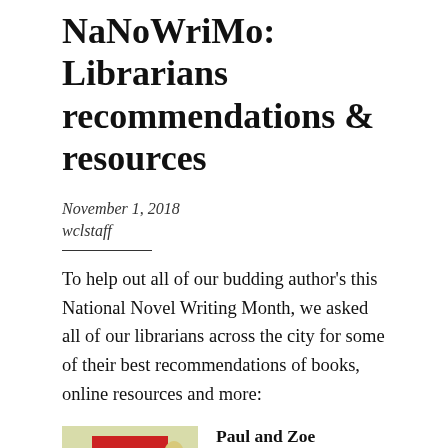NaNoWriMo: Librarians recommendations & resources
November 1, 2018
wclstaff
To help out all of our budding author’s this National Novel Writing Month, we asked all of our librarians across the city for some of their best recommendations of books, online resources and more:
[Figure (photo): Book cover of 'Bird by bird' by Anne Lamott, showing a bird illustration on a yellow-green background with a red label]
Paul and Zoe recommend Bird by bird : some instructions on writing and